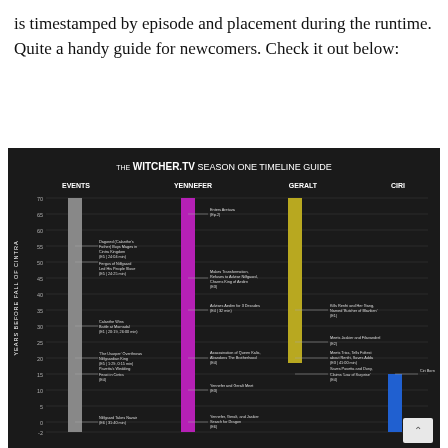is timestamped by episode and placement during the runtime. Quite a handy guide for newcomers. Check it out below:
[Figure (infographic): TheWitcher.TV Season One Timeline Guide infographic showing a vertical bar chart on a dark background with four columns: Events, Yennefer, Geralt, and Ciri. Y-axis shows 'Years Before Fall of Cintra' from about -2 to 70. Each character has a colored vertical bar (gray for Events, magenta for Yennefer, gold/yellow for Geralt, blue for Ciri) with annotated events placed at corresponding years.]